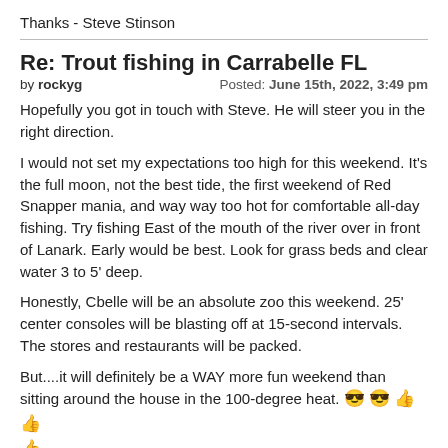Thanks - Steve Stinson
Re: Trout fishing in Carrabelle FL
by rockyg   Posted: June 15th, 2022, 3:49 pm
Hopefully you got in touch with Steve. He will steer you in the right direction.
I would not set my expectations too high for this weekend. It's the full moon, not the best tide, the first weekend of Red Snapper mania, and way way too hot for comfortable all-day fishing. Try fishing East of the mouth of the river over in front of Lanark. Early would be best. Look for grass beds and clear water 3 to 5' deep.
Honestly, Cbelle will be an absolute zoo this weekend. 25' center consoles will be blasting off at 15-second intervals. The stores and restaurants will be packed.
But....it will definitely be a WAY more fun weekend than sitting around the house in the 100-degree heat. 😎😎👍👍👍